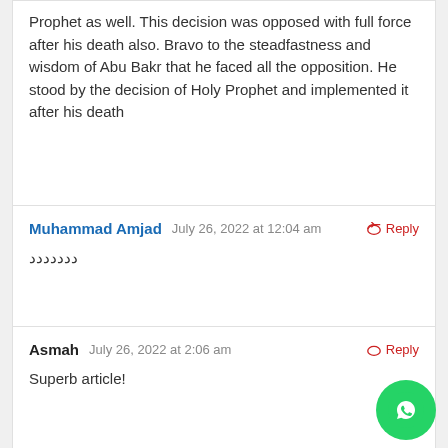Prophet as well. This decision was opposed with full force after his death also. Bravo to the steadfastness and wisdom of Abu Bakr that he faced all the opposition. He stood by the decision of Holy Prophet and implemented it after his death
Muhammad Amjad   July 26, 2022 at 12:04 am   Reply
ددددددد
Asmah   July 26, 2022 at 2:06 am   Reply
Superb article!